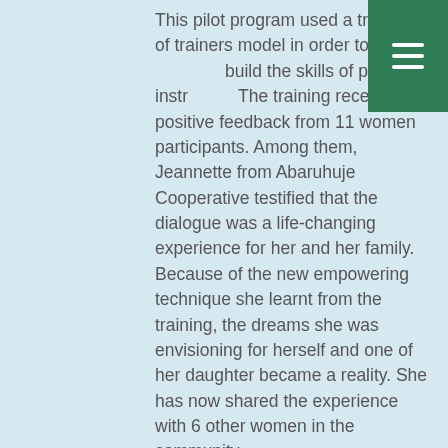This pilot program used a training of trainers model in order to identify and build the skills of potential instructors. The training received a positive feedback from 11 women participants. Among them, Jeannette from Abaruhuje Cooperative testified that the dialogue was a life-changing experience for her and her family. Because of the new empowering technique she learnt from the training, the dreams she was envisioning for herself and one of her daughter became a reality. She has now shared the experience with 6 other women in the community.
2008: AIGINET connects with two grassroots womens organizations, including a) “Duhozanye Association,” an organization of elderly genocide survivors based in the Gisagara District of the Southern Province and b) “Abaruhuje,” a cooperative of women involved in social entrepreneurship activities based in the Huye District of the Southern...